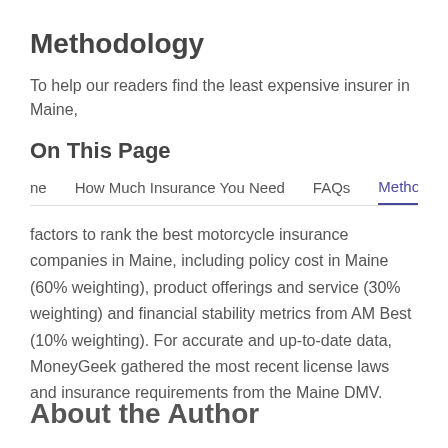Methodology
To help our readers find the least expensive insurer in Maine,
On This Page
ne    How Much Insurance You Need    FAQs    Methodolo
factors to rank the best motorcycle insurance companies in Maine, including policy cost in Maine (60% weighting), product offerings and service (30% weighting) and financial stability metrics from AM Best (10% weighting). For accurate and up-to-date data, MoneyGeek gathered the most recent license laws and insurance requirements from the Maine DMV.
About the Author